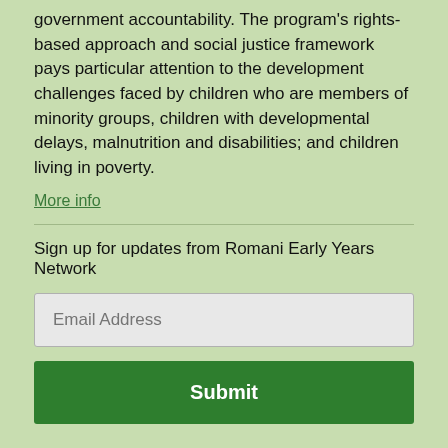government accountability. The program's rights-based approach and social justice framework pays particular attention to the development challenges faced by children who are members of minority groups, children with developmental delays, malnutrition and disabilities; and children living in poverty.
More info
Sign up for updates from Romani Early Years Network
Email Address
Submit
FOLLOW US